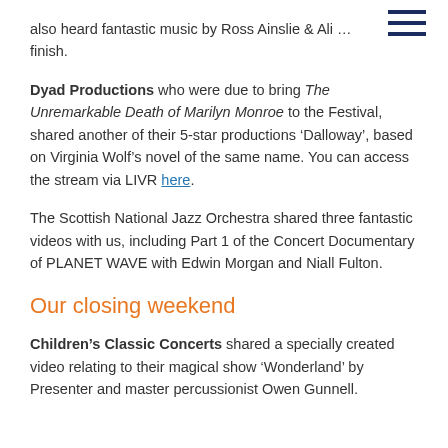also heard fantastic music by Ross Ainslie & Ali … finish.
Dyad Productions who were due to bring The Unremarkable Death of Marilyn Monroe to the Festival, shared another of their 5-star productions 'Dalloway', based on Virginia Wolf's novel of the same name. You can access the stream via LIVR here.
The Scottish National Jazz Orchestra shared three fantastic videos with us, including Part 1 of the Concert Documentary of PLANET WAVE with Edwin Morgan and Niall Fulton.
Our closing weekend
Children's Classic Concerts shared a specially created video relating to their magical show 'Wonderland' by Presenter and master percussionist Owen Gunnell.